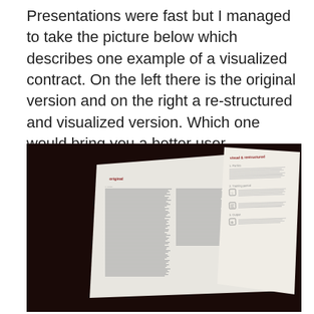Presentations were fast but I managed to take the picture below which describes one example of a visualized contract. On the left there is the original version and on the right a re-structured and visualized version. Which one would bring you a better user experience? I apologize that the picture is a bit unclear.
[Figure (photo): A photograph of a presentation slide or printed document showing two contract versions side by side on a dark background. The left side is labeled 'original' showing a dense text-heavy contract layout. The right side is labeled 'visual & restructured' showing a reformatted version with sections like 'Parties', 'Training period', and 'Output', including icons and clearer layout.]